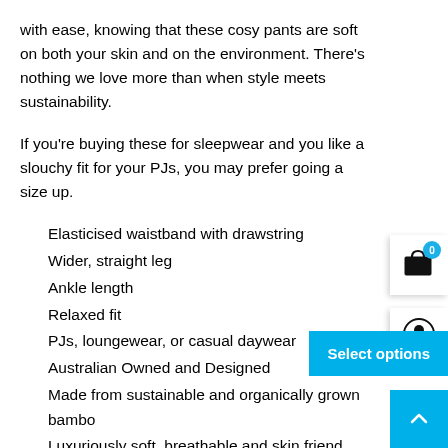with ease, knowing that these cosy pants are soft on both your skin and on the environment. There’s nothing we love more than when style meets sustainability.
If you’re buying these for sleepwear and you like a slouchy fit for your PJs, you may prefer going a size up.
Elasticised waistband with drawstring
Wider, straight leg
Ankle length
Relaxed fit
PJs, loungewear, or casual daywear
Australian Owned and Designed
Made from sustainable and organically grown bambo
Luxuriously soft, breathable and skin friend
Ethical and sustainable production
OEKO Tex 100 Certified